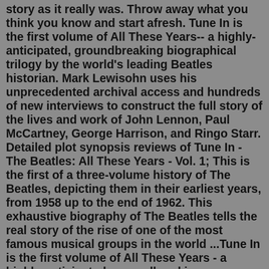story as it really was. Throw away what you think you know and start afresh. Tune In is the first volume of All These Years-- a highly-anticipated, groundbreaking biographical trilogy by the world's leading Beatles historian. Mark Lewisohn uses his unprecedented archival access and hundreds of new interviews to construct the full story of the lives and work of John Lennon, Paul McCartney, George Harrison, and Ringo Starr. Detailed plot synopsis reviews of Tune In - The Beatles: All These Years - Vol. 1; This is the first of a three-volume history of The Beatles, depicting them in their earliest years, from 1958 up to the end of 1962. This exhaustive biography of The Beatles tells the real story of the rise of one of the most famous musical groups in the world ...Tune In is the first volume of All These Years - a highly-anticipated, groundbreaking biographical trilogy by the world's leading Beatles historian. Mark Lewisohn uses his unprecedented archival access and hundreds of new interviews to construct the full story